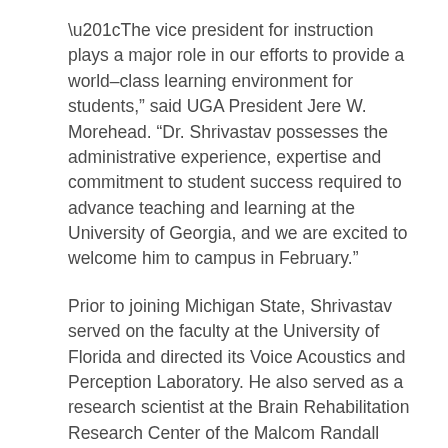“The vice president for instruction plays a major role in our efforts to provide a world-class learning environment for students,” said UGA President Jere W. Morehead. “Dr. Shrivastav possesses the administrative experience, expertise and commitment to student success required to advance teaching and learning at the University of Georgia, and we are excited to welcome him to campus in February.”
Prior to joining Michigan State, Shrivastav served on the faculty at the University of Florida and directed its Voice Acoustics and Perception Laboratory. He also served as a research scientist at the Brain Rehabilitation Research Center of the Malcom Randall Veterans Affairs Medical Center in Gainesville, Florida.
His research focuses on improving the assessment and treatment of speech-language disorders, analyzing speech patterns to create diagnostic and screening tools for conditions such as Parkinson’s disease, and enhancing the performance of hearing aids, cochlear implants and